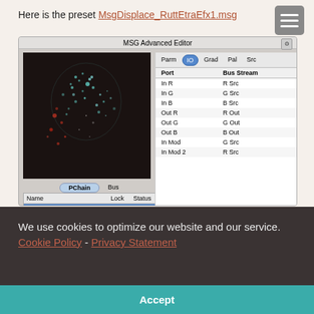Here is the preset MsgDisplace_RuttEtraEfx1.msg
[Figure (screenshot): MSG Advanced Editor screenshot showing IO panel with Port/BusStream table listing In R→R Src, In G→G Src, In B→B Src, Out R→R Out, Out G→G Out, Out B→B Out, In Mod→G Src, In Mod 2→R Src, and PChain panel with RGB_DisplaceMod2D1 row selected (Lock: off, Status: on)]
We use cookies to optimize our website and our service. Cookie Policy - Privacy Statement
Accept
| Name | Lock | Status |
| --- | --- | --- |
| Algorithm | 2 | off | off |
| Name | Lock | Status |
| --- | --- | --- |